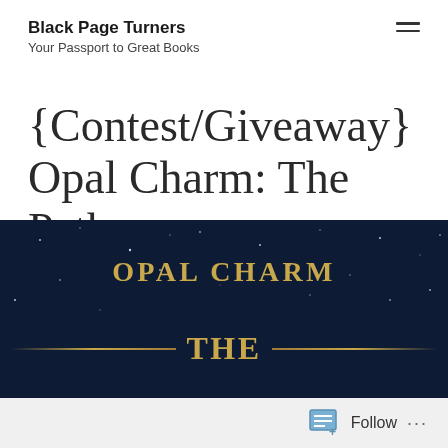Black Page Turners
Your Passport to Great Books
{Contest/Giveaway} Opal Charm: The Path to Dawn (Volume 1) by:Miri Castor
[Figure (illustration): Dark navy blue book cover banner with golden text reading 'OPAL CHARM' on top and 'THE' below with gold decorative horizontal lines on either side, against a starry night sky background.]
Follow ...